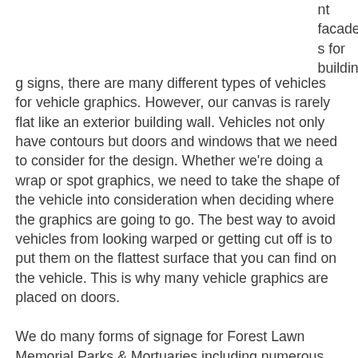nt facades for building signs, there are many different types of vehicles for vehicle graphics. However, our canvas is rarely flat like an exterior building wall. Vehicles not only have contours but doors and windows that we need to consider for the design. Whether we're doing a wrap or spot graphics, we need to take the shape of the vehicle into consideration when deciding where the graphics are going to go. The best way to avoid vehicles from looking warped or getting cut off is to put them on the flattest surface that you can find on the vehicle. This is why many vehicle graphics are placed on doors.
We do many forms of signage for Forest Lawn Memorial Parks & Mortuaries including numerous vehicle graphics. Recently, they needed graphics for a few vans. The main